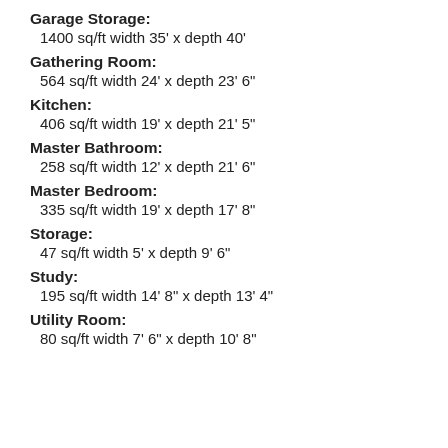Garage Storage: 1400 sq/ft width 35' x depth 40'
Gathering Room: 564 sq/ft width 24' x depth 23' 6"
Kitchen: 406 sq/ft width 19' x depth 21' 5"
Master Bathroom: 258 sq/ft width 12' x depth 21' 6"
Master Bedroom: 335 sq/ft width 19' x depth 17' 8"
Storage: 47 sq/ft width 5' x depth 9' 6"
Study: 195 sq/ft width 14' 8" x depth 13' 4"
Utility Room: 80 sq/ft width 7' 6" x depth 10' 8"